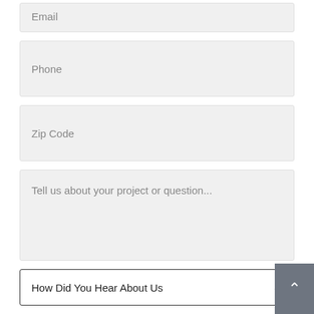Email
Phone
Zip Code
Tell us about your project or question...
How Did You Hear About Us
[Figure (screenshot): reCAPTCHA widget with checkbox labeled I'm not a robot]
SEND